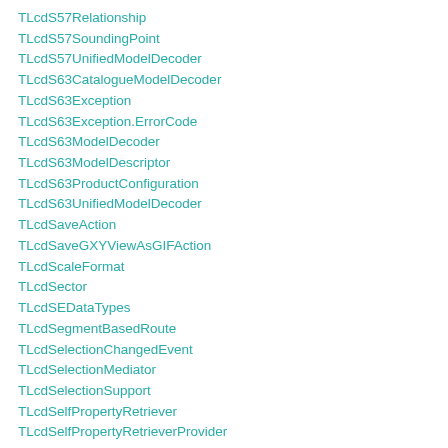TLcdS57Relationship
TLcdS57SoundingPoint
TLcdS57UnifiedModelDecoder
TLcdS63CatalogueModelDecoder
TLcdS63Exception
TLcdS63Exception.ErrorCode
TLcdS63ModelDecoder
TLcdS63ModelDescriptor
TLcdS63ProductConfiguration
TLcdS63UnifiedModelDecoder
TLcdSaveAction
TLcdSaveGXYViewAsGIFAction
TLcdScaleFormat
TLcdSector
TLcdSEDataTypes
TLcdSegmentBasedRoute
TLcdSelectionChangedEvent
TLcdSelectionMediator
TLcdSelectionSupport
TLcdSelfPropertyRetriever
TLcdSelfPropertyRetrieverProvider
TLcdSemanticsOp
TLcdSeparator (strikethrough)
TLcdService
TLcdServiceAnnotationProcessor
TLcdServiceFeatureClassMapper
TLcdServiceLoader
TLcdServiceModelDescriptor